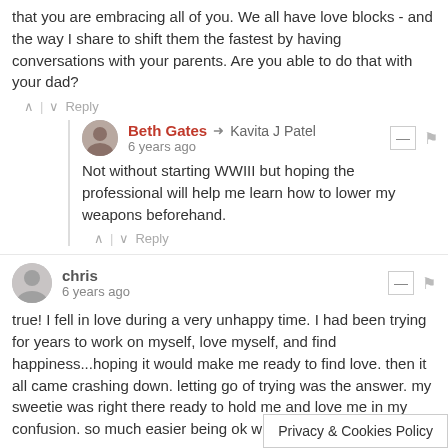that you are embracing all of you. We all have love blocks - and the way I share to shift them the fastest by having conversations with your parents. Are you able to do that with your dad?
^ | v Reply
Beth Gates → Kavita J Patel
6 years ago
Not without starting WWIII but hoping the professional will help me learn how to lower my weapons beforehand.
^ | v Reply
chris
6 years ago
true! I fell in love during a very unhappy time. I had been trying for years to work on myself, love myself, and find happiness...hoping it would make me ready to find love. then it all came crashing down. letting go of trying was the answer. my sweetie was right there ready to hold me and love me in my confusion. so much easier being ok with what is.
^ | v Reply
Privacy & Cookies Policy